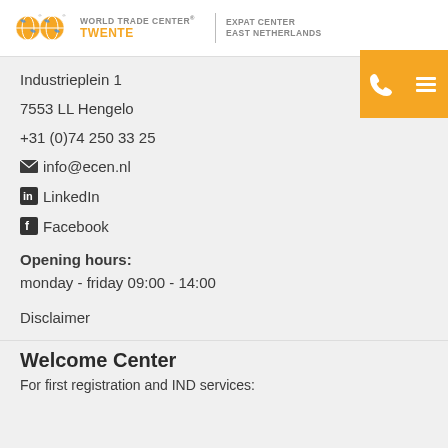[Figure (logo): World Trade Center Twente logo with two globe icons and Expat Center East Netherlands text]
Industrieplein 1
7553 LL Hengelo
+31 (0)74 250 33 25
info@ecen.nl
LinkedIn
Facebook
Opening hours:
monday - friday 09:00 - 14:00
Disclaimer
Welcome Center
For first registration and IND services: